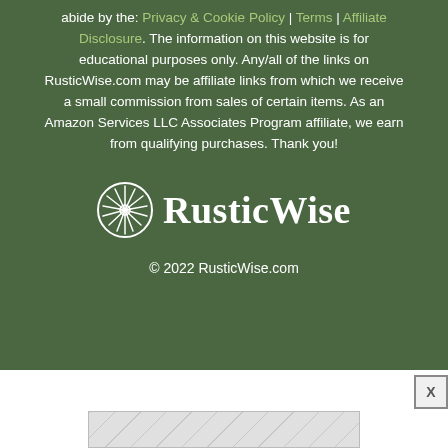abide by the Privacy & Cookie Policy | Terms | Affiliate Disclosure. The information on this website is for educational purposes only. Any/all of the links on RusticWise.com may be affiliate links from which we receive a small commission from sales of certain items. As an Amazon Services LLC Associates Program affiliate, we earn from qualifying purchases. Thank you!
[Figure (logo): RusticWise logo: white starburst/compass icon in a circle with 'RusticWise' text in white serif font]
© 2022 RusticWise.com
[Figure (other): Advertisement placeholder area with close X button and geometric pattern]